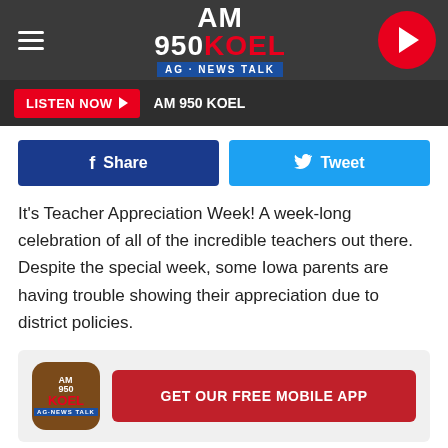[Figure (screenshot): AM 950 KOEL radio station website header with logo, hamburger menu, play button]
[Figure (screenshot): Listen Now bar with AM 950 KOEL branding]
[Figure (screenshot): Facebook Share and Twitter Tweet buttons]
It's Teacher Appreciation Week! A week-long celebration of all of the incredible teachers out there. Despite the special week, some Iowa parents are having trouble showing their appreciation due to district policies.
[Figure (infographic): GET OUR FREE MOBILE APP promotional banner with AM 950 KOEL app icon]
To show thanks to some of their kids' teachers, parents in Carroll, Iowa got together to raise money to get lunch